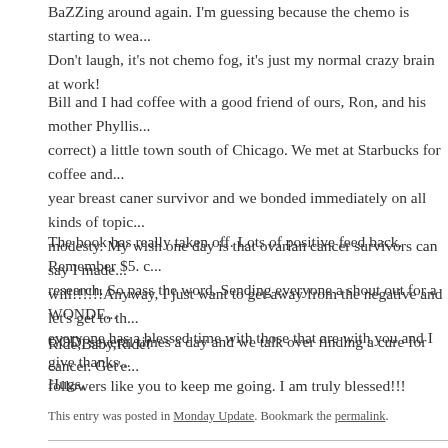BaZZing around again. I'm guessing because the chemo is starting to wear... Don't laugh, it's not chemo fog, it's just my normal crazy brain at work!
Bill and I had coffee with a good friend of ours, Ron, and his mother Phyllis... correct) a little town south of Chicago. We met at Starbucks for coffee and... year breast caner survivor and we bonded immediately on all kinds of topic... modesty. My wish one day is that ovarian cancer survivors can say I made... will!!!!!!Anyway, I just want to get away from the negative and let's get to th... GOD, several times a day and we talk over finding a cure for cancer. Get'e...
The book has really taken off. Lots of positive feed back. Remember $5. c... research. So pass the word. Sending everyone a shout out for a WONDE... everyone has a blessed time with those that are with you and I give thanks... followers like you to keep me going. I am truly blessed!!!
Ride,Baby,Ride!
Hugs,
Leilani
This entry was posted in Monday Update. Bookmark the permalink.